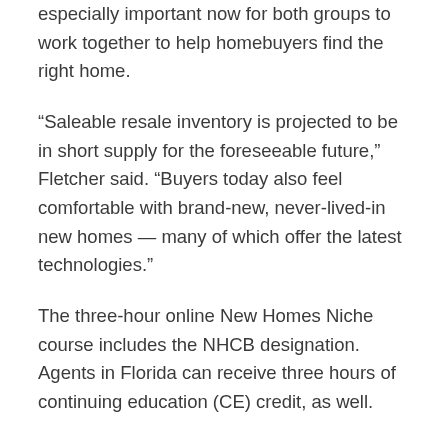especially important now for both groups to work together to help homebuyers find the right home.
“Saleable resale inventory is projected to be in short supply for the foreseeable future,” Fletcher said. “Buyers today also feel comfortable with brand-new, never-lived-in new homes — many of which offer the latest technologies.”
The three-hour online New Homes Niche course includes the NHCB designation. Agents in Florida can receive three hours of continuing education (CE) credit, as well.